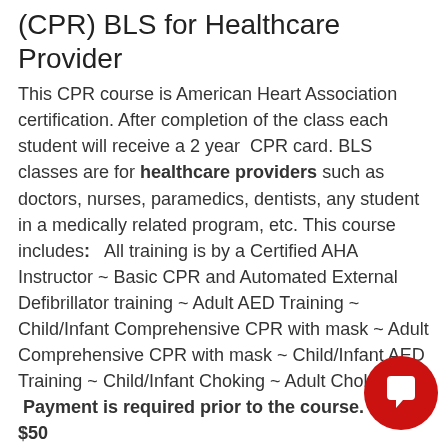(CPR) BLS for Healthcare Provider
This CPR course is American Heart Association certification. After completion of the class each student will receive a 2 year CPR card. BLS classes are for healthcare providers such as doctors, nurses, paramedics, dentists, any student in a medically related program, etc. This course includes: All training is by a Certified AHA Instructor ~ Basic CPR and Automated External Defibrillator training ~ Adult AED Training ~ Child/Infant Comprehensive CPR with mask ~ Adult Comprehensive CPR with mask ~ Child/Infant AED Training ~ Child/Infant Choking ~ Adult Choking. Payment is required prior to the course. Cost: $50
(ACLS) Advanced Cardiac Life Support
The American Heart Association (AHA) defines Advanced Cardiac Life Support (ACLS) as an algorithmic series of medical procedures and